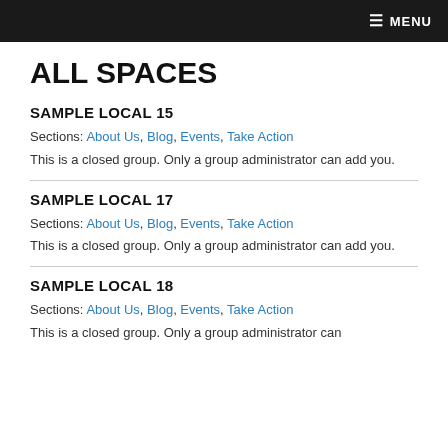≡ MENU
ALL SPACES
SAMPLE LOCAL 15
Sections: About Us, Blog, Events, Take Action
This is a closed group. Only a group administrator can add you.
SAMPLE LOCAL 17
Sections: About Us, Blog, Events, Take Action
This is a closed group. Only a group administrator can add you.
SAMPLE LOCAL 18
Sections: About Us, Blog, Events, Take Action
This is a closed group. Only a group administrator can